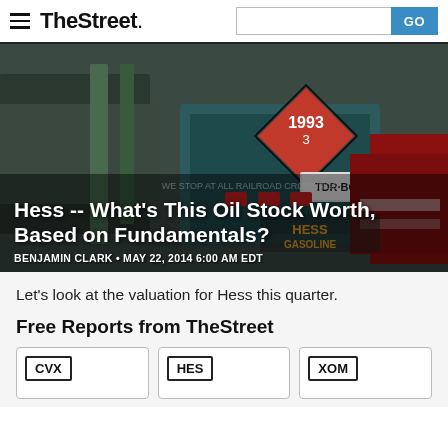TheStreet
[Figure (photo): Photo of Hess gasoline tanker trucks at railroad crossing, with a diamond-shaped hazmat placard showing '1993 3' and a license plate reading 'TDR·BOC']
Hess -- What's This Oil Stock Worth, Based on Fundamentals?
BENJAMIN CLARK • MAY 22, 2014 6:00 AM EDT
Let's look at the valuation for Hess this quarter.
Free Reports from TheStreet
CVX
HES
XOM